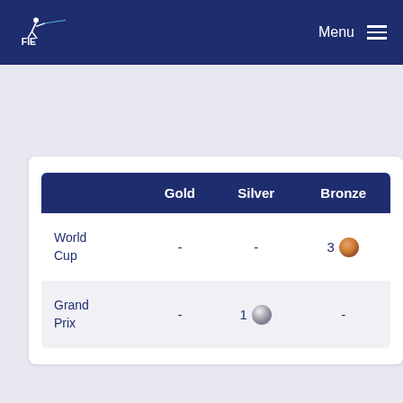FIE Menu
|  | Gold | Silver | Bronze |
| --- | --- | --- | --- |
| World Cup | - | - | 3 |
| Grand Prix | - | 1 | - |
Upcoming Events
Competition
Tournoi Satellite
Sofia, Bulgaria
25 Sep 2022